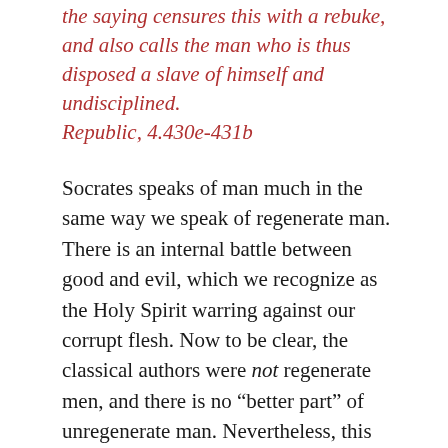the saying censures this with a rebuke, and also calls the man who is thus disposed a slave of himself and undisciplined. Republic, 4.430e-431b
Socrates speaks of man much in the same way we speak of regenerate man. There is an internal battle between good and evil, which we recognize as the Holy Spirit warring against our corrupt flesh. Now to be clear, the classical authors were not regenerate men, and there is no “better part” of unregenerate man. Nevertheless, this pagan Socrates rightly recognizes that there is an evil part of man, and that evil part is to be resisted.